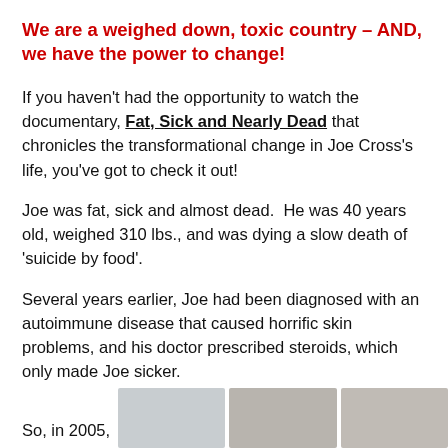We are a weighed down, toxic country – AND, we have the power to change!
If you haven't had the opportunity to watch the documentary, Fat, Sick and Nearly Dead that chronicles the transformational change in Joe Cross's life, you've got to check it out!
Joe was fat, sick and almost dead.  He was 40 years old, weighed 310 lbs., and was dying a slow death of 'suicide by food'.
Several years earlier, Joe had been diagnosed with an autoimmune disease that caused horrific skin problems, and his doctor prescribed steroids, which only made Joe sicker.
So, in 2005,
[Figure (photo): Partial view of two portrait photos of people, cropped at bottom of page]